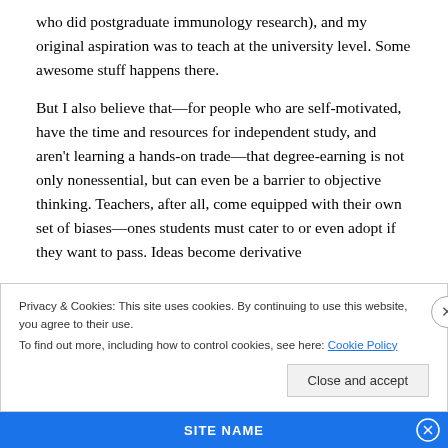who did postgraduate immunology research), and my original aspiration was to teach at the university level. Some awesome stuff happens there.
But I also believe that—for people who are self-motivated, have the time and resources for independent study, and aren't learning a hands-on trade—that degree-earning is not only nonessential, but can even be a barrier to objective thinking. Teachers, after all, come equipped with their own set of biases—ones students must cater to or even adopt if they want to pass. Ideas become derivative
Privacy & Cookies: This site uses cookies. By continuing to use this website, you agree to their use.
To find out more, including how to control cookies, see here: Cookie Policy
Close and accept